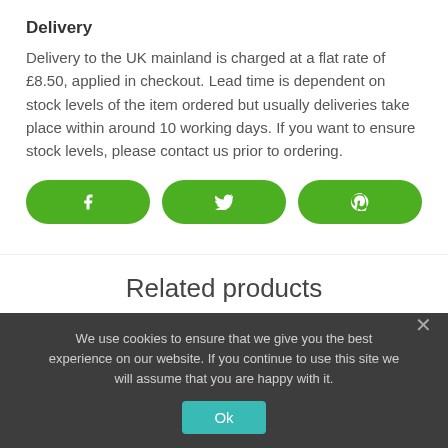Delivery
Delivery to the UK mainland is charged at a flat rate of £8.50, applied in checkout. Lead time is dependent on stock levels of the item ordered but usually deliveries take place within around 10 working days. If you want to ensure stock levels, please contact us prior to ordering.
[Figure (other): Three green rounded social share buttons with Facebook, Twitter, and Pinterest icons]
Related products
We use cookies to ensure that we give you the best experience on our website. If you continue to use this site we will assume that you are happy with it.